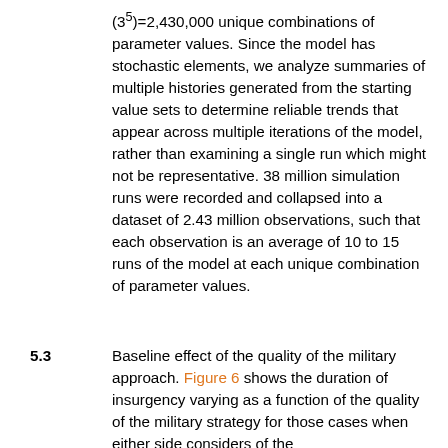(3^5)=2,430,000 unique combinations of parameter values. Since the model has stochastic elements, we analyze summaries of multiple histories generated from the starting value sets to determine reliable trends that appear across multiple iterations of the model, rather than examining a single run which might not be representative. 38 million simulation runs were recorded and collapsed into a dataset of 2.43 million observations, such that each observation is an average of 10 to 15 runs of the model at each unique combination of parameter values.
5.3
Baseline effect of the quality of the military approach. Figure 6 shows the duration of insurgency varying as a function of the quality of the military strategy for those cases when either side considers of the...